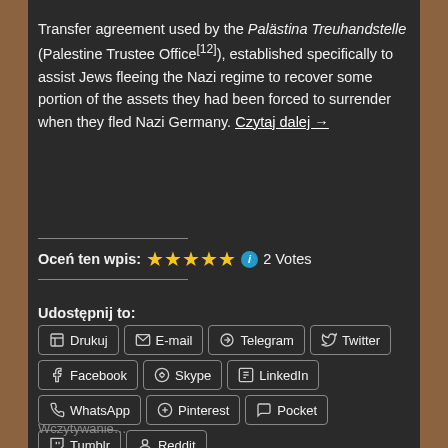Transfer agreement used by the Palästina Treuhandstelle (Palestine Trustee Office[12]), established specifically to assist Jews fleeing the Nazi regime to recover some portion of the assets they had been forced to surrender when they fled Nazi Germany. Czytaj dalej →
Oceń ten wpis: ★★★★★ ℹ 2 Votes
Udostępnij to:
Drukuj
E-mail
Telegram
Twitter
Facebook
Skype
LinkedIn
WhatsApp
Pinterest
Pocket
Tumblr
Reddit
Wczytywanie…